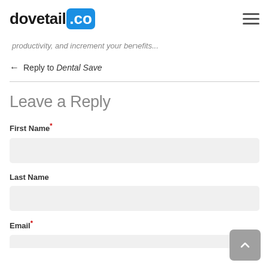dovetail .co
productivity, and increment your benefits...
← Reply to Dental Save
Leave a Reply
First Name*
Last Name
Email*